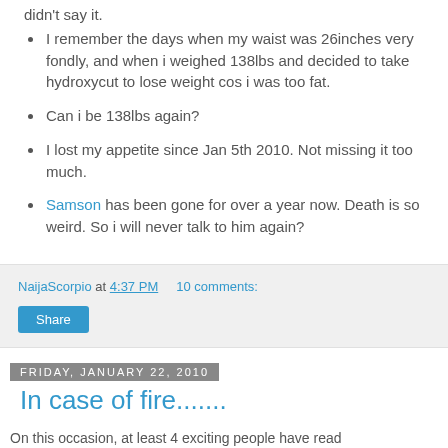didn't say it.
I remember the days when my waist was 26inches very fondly, and when i weighed 138lbs and decided to take hydroxycut to lose weight cos i was too fat.
Can i be 138lbs again?
I lost my appetite since Jan 5th 2010. Not missing it too much.
Samson has been gone for over a year now. Death is so weird. So i will never talk to him again?
NaijaScorpio at 4:37 PM   10 comments:
Share
Friday, January 22, 2010
In case of fire.......
On this occasion, at least 4 exciting people have read